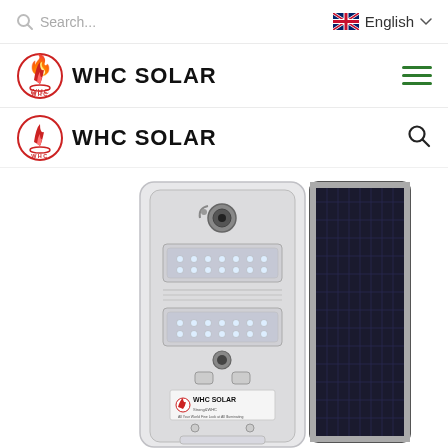Search...  English
[Figure (logo): WHC Solar logo with phoenix flame icon in red and text WHC SOLAR in bold black, repeated twice — once in the navigation bar and once in the content area]
[Figure (photo): Product photo of WHC Solar all-in-one solar street light showing the back panel with LED modules, motion sensor camera, control buttons and WHC SOLAR label plate, plus the solar panel on the right side]